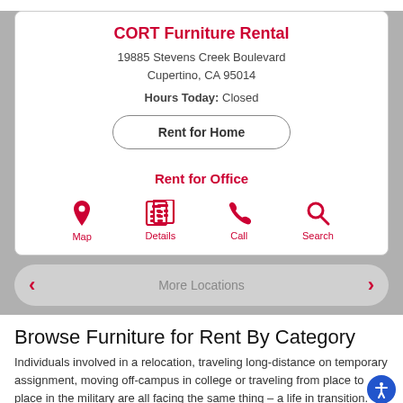CORT Furniture Rental
19885 Stevens Creek Boulevard
Cupertino, CA 95014
Hours Today: Closed
Rent for Home
Rent for Office
[Figure (infographic): Four red icons in a row: Map (location pin), Details (newspaper), Call (phone), Search (magnifying glass)]
More Locations
Browse Furniture for Rent By Category
Individuals involved in a relocation, traveling long-distance on temporary assignment, moving off-campus in college or traveling from place to place in the military are all facing the same thing – a life in transition.